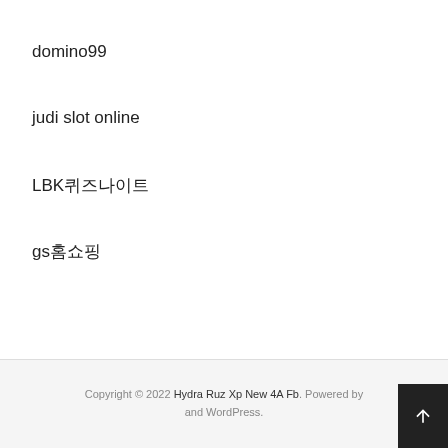domino99
judi slot online
LBK퀴즈나이트
gs홈쇼핑
Copyright © 2022 Hydra Ruz Xp New 4A Fb. Powered by and WordPress.